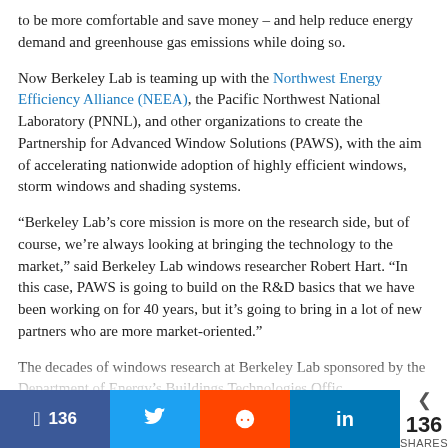to be more comfortable and save money – and help reduce energy demand and greenhouse gas emissions while doing so.
Now Berkeley Lab is teaming up with the Northwest Energy Efficiency Alliance (NEEA), the Pacific Northwest National Laboratory (PNNL), and other organizations to create the Partnership for Advanced Window Solutions (PAWS), with the aim of accelerating nationwide adoption of highly efficient windows, storm windows and shading systems.
“Berkeley Lab’s core mission is more on the research side, but of course, we’re always looking at bringing the technology to the market,” said Berkeley Lab windows researcher Robert Hart. “In this case, PAWS is going to build on the R&D basics that we have been working on for 40 years, but it’s going to bring in a lot of new partners who are more market-oriented.”
The decades of windows research at Berkeley Lab sponsored by the Department of Energy’s Buildings Technologies Offic...